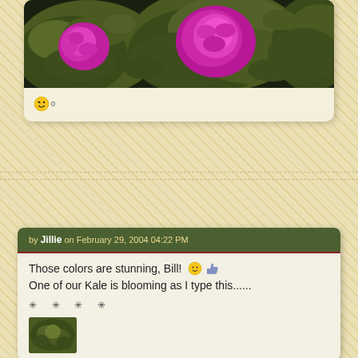[Figure (photo): Close-up photo of ornamental kale/cabbage plants with bright magenta/pink centers and dark green frilly leaves]
0 (emoji reaction count)
by Jillie on February 29, 2004 04:22 PM
Those colors are stunning, Bill! One of our Kale is blooming as I type this......
* * * *
[Figure (photo): Small thumbnail photo of green kale plant]